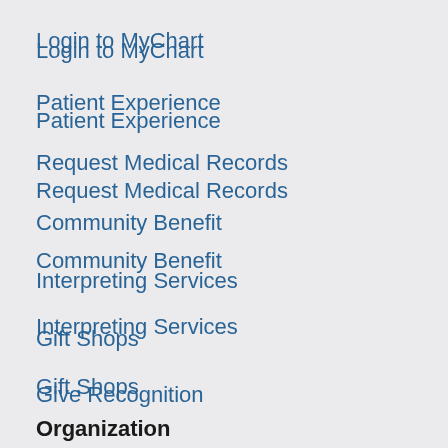Login to MyChart
Patient Experience
Request Medical Records
Community Benefit
Interpreting Services
Gift Shops
Give Recognition
Organization